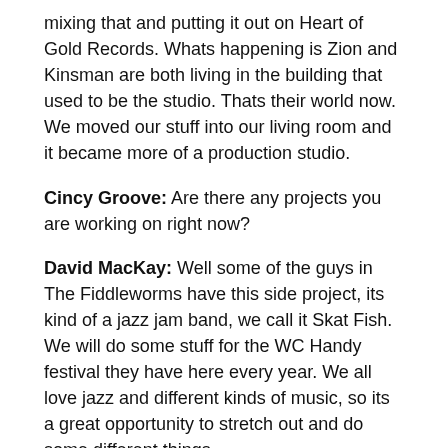mixing that and putting it out on Heart of Gold Records. Whats happening is Zion and Kinsman are both living in the building that used to be the studio. Thats their world now. We moved our stuff into our living room and it became more of a production studio.
Cincy Groove: Are there any projects you are working on right now?
David MacKay: Well some of the guys in The Fiddleworms have this side project, its kind of a jazz jam band, we call it Skat Fish. We will do some stuff for the WC Handy festival they have here every year. We all love jazz and different kinds of music, so its a great opportunity to stretch out and do some different things.
Cincy Groove: Who are some of your musical influences?